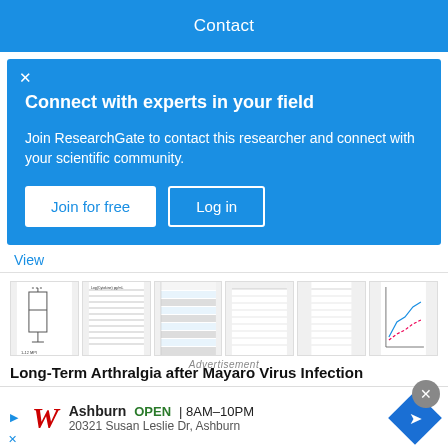Contact
Connect with experts in your field
Join ResearchGate to contact this researcher and connect with your scientific community.
Join for free
Log in
View
[Figure (screenshot): Thumbnail images of research paper figures including box plots, tables, and charts from the article about Long-Term Arthralgia after Mayaro Virus Infection]
Long-Term Arthralgia after Mayaro Virus Infection Correlates with Sustained Pro-inflammatory Cytokine
Advertisement
Ashburn  OPEN | 8AM–10PM  20321 Susan Leslie Dr, Ashburn